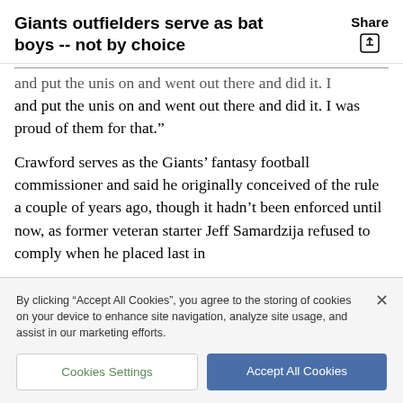Giants outfielders serve as bat boys -- not by choice
and put the unis on and went out there and did it. I was proud of them for that.”
Crawford serves as the Giants’ fantasy football commissioner and said he originally conceived of the rule a couple of years ago, though it hadn’t been enforced until now, as former veteran starter Jeff Samardzija refused to comply when he placed last in
By clicking “Accept All Cookies”, you agree to the storing of cookies on your device to enhance site navigation, analyze site usage, and assist in our marketing efforts.